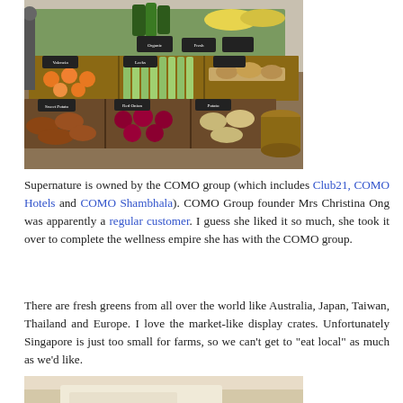[Figure (photo): Indoor market-style display of fresh produce in wooden crates arranged on tiered shelves. Various vegetables and fruits including sweet potatoes, oranges, celeriac, bananas, and other produce. Small chalkboard signs label the products.]
Supernature is owned by the COMO group (which includes Club21, COMO Hotels and COMO Shambhala). COMO Group founder Mrs Christina Ong was apparently a regular customer. I guess she liked it so much, she took it over to complete the wellness empire she has with the COMO group.
There are fresh greens from all over the world like Australia, Japan, Taiwan, Thailand and Europe. I love the market-like display crates. Unfortunately Singapore is just too small for farms, so we can't get to "eat local" as much as we'd like.
[Figure (photo): Partial view of a light-colored surface, possibly a table or counter with what appears to be a document or paper item visible.]